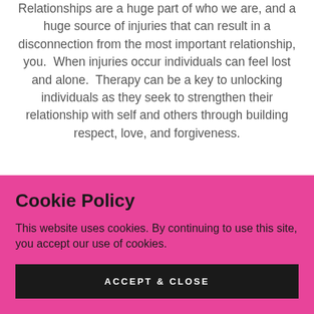Relationships are a huge part of who we are, and a huge source of injuries that can result in a disconnection from the most important relationship, you.  When injuries occur individuals can feel lost and alone.  Therapy can be a key to unlocking individuals as they seek to strengthen their relationship with self and others through building respect, love, and forgiveness.
Cookie Policy
This website uses cookies. By continuing to use this site, you accept our use of cookies.
ACCEPT & CLOSE